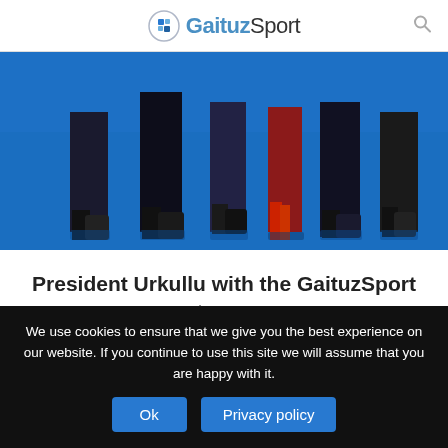GaituzSport
[Figure (photo): Photo of people standing on a blue floor, showing only their legs and feet. Multiple individuals in formal attire on a blue background.]
President Urkullu with the GaituzSport team.
We use cookies to ensure that we give you the best experience on our website. If you continue to use this site we will assume that you are happy with it.